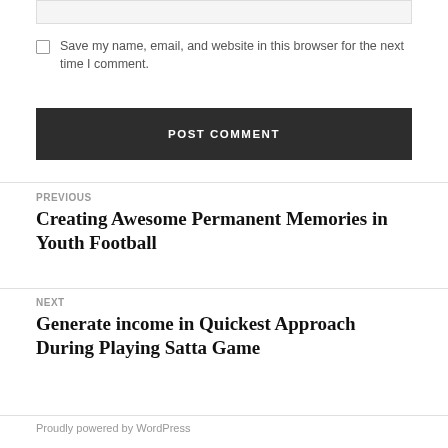Save my name, email, and website in this browser for the next time I comment.
POST COMMENT
PREVIOUS
Creating Awesome Permanent Memories in Youth Football
NEXT
Generate income in Quickest Approach During Playing Satta Game
Proudly powered by WordPress